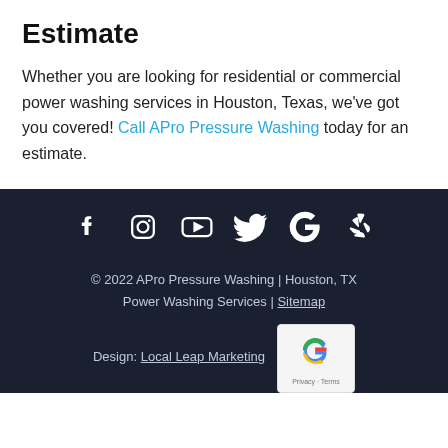Estimate
Whether you are looking for residential or commercial power washing services in Houston, Texas, we've got you covered! Call APro Pressure Washing today for an estimate.
[Figure (other): Social media icons row: Facebook, Instagram, YouTube, Twitter, Google, Yelp — white icons on dark navy background]
© 2022 APro Pressure Washing | Houston, TX Power Washing Services | Sitemap
Design: Local Leap Marketing